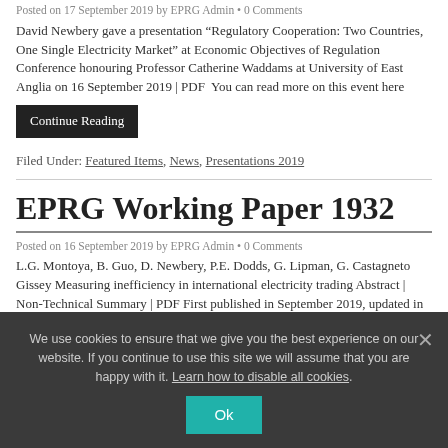Posted on 17 September 2019 by EPRG Admin • 0 Comments
David Newbery gave a presentation “Regulatory Cooperation: Two Countries, One Single Electricity Market” at Economic Objectives of Regulation Conference honouring Professor Catherine Waddams at University of East Anglia on 16 September 2019 | PDF  You can read more on this event here
Continue Reading
Filed Under: Featured Items, News, Presentations 2019
EPRG Working Paper 1932
Posted on 16 September 2019 by EPRG Admin • 0 Comments
L.G. Montoya, B. Guo, D. Newbery, P.E. Dodds, G. Lipman, G. Castagneto Gissey Measuring inefficiency in international electricity trading Abstract | Non-Technical Summary | PDF First published in September 2019, updated in October 2019, revised in February 2020 Published as a journal article in
We use cookies to ensure that we give you the best experience on our website. If you continue to use this site we will assume that you are happy with it. Learn how to disable all cookies.